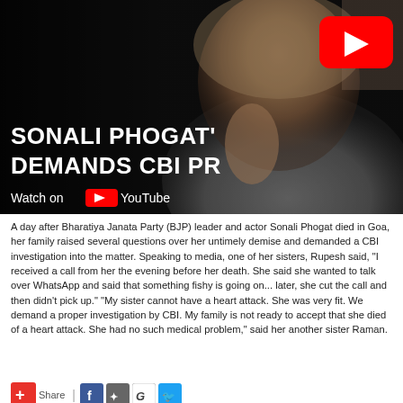[Figure (screenshot): YouTube video thumbnail showing a grieving woman with the partially visible title 'SONALI PHOGAT'S DEMANDS CBI PR' with 'Watch on YouTube' text at the bottom]
A day after Bharatiya Janata Party (BJP) leader and actor Sonali Phogat died in Goa, her family raised several questions over her untimely demise and demanded a CBI investigation into the matter. Speaking to media, one of her sisters, Rupesh said, "I received a call from her the evening before her death. She said she wanted to talk over WhatsApp and said that something fishy is going on... later, she cut the call and then didn't pick up." "My sister cannot have a heart attack. She was very fit. We demand a proper investigation by CBI. My family is not ready to accept that she died of a heart attack. She had no such medical problem," said her another sister Raman.
[Figure (infographic): Social share buttons row: red plus/Share button, Facebook, Twitter/bird, Google, Twitter blue bird icons]